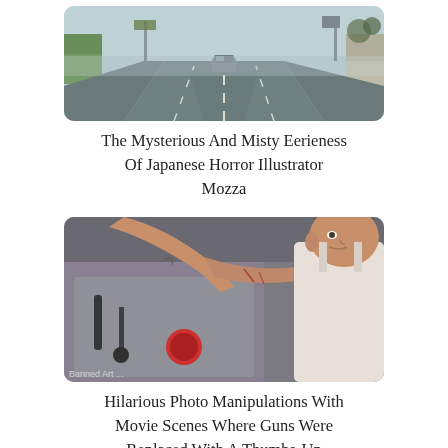[Figure (photo): Misty highway road scene viewed from inside a car, with guardrails on both sides, overcast sky, and a car ahead on the wet road.]
The Mysterious And Misty Eerieness Of Japanese Horror Illustrator Mozza
[Figure (photo): A bald man in a tank top, resembling an action movie character, reaching out with his arm giving a thumbs-up gesture near a vehicle, with scratches and marks on his arm.]
Hilarious Photo Manipulations With Movie Scenes Where Guns Were Replaced With A Thumbs-Up